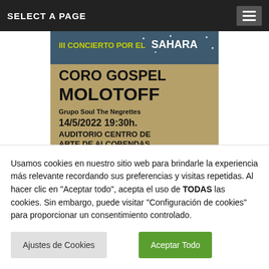SELECT A PAGE
[Figure (illustration): Concert poster for 'III Concierto por el Sahara' featuring Coro Gospel Molotoff and Grupo Soul The Negrettes, on 14/5/2022 at 19:30h at Auditorio Centro de Arte de Alcobendas. Tickets price: 8 euros.]
Usamos cookies en nuestro sitio web para brindarle la experiencia más relevante recordando sus preferencias y visitas repetidas. Al hacer clic en "Aceptar todo", acepta el uso de TODAS las cookies. Sin embargo, puede visitar "Configuración de cookies" para proporcionar un consentimiento controlado.
Ajustes de Cookies
Aceptar Todo